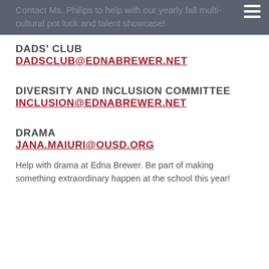Contact Ms. Philips to help with our yearly fall multi-cultural pot luck and talent showcase!
DADS' CLUB
DADSCLUB@EDNABREWER.NET
DIVERSITY AND INCLUSION COMMITTEE
INCLUSION@EDNABREWER.NET
DRAMA
JANA.MAIURI@OUSD.ORG
Help with drama at Edna Brewer.  Be part of making something extraordinary happen at the school this year!